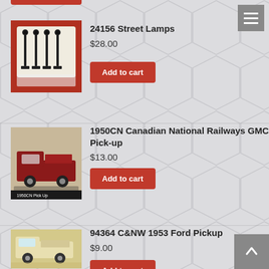[Figure (photo): Product photo of 24156 Street Lamps - black street lamp models on white tray with red packaging]
24156 Street Lamps
$28.00
Add to cart
[Figure (photo): Product photo of 1950CN Canadian National Railways GMC Pick-up - dark red die-cast model truck]
1950CN Canadian National Railways GMC Pick-up
$13.00
Add to cart
[Figure (photo): Product photo of 94364 C&NW 1953 Ford Pickup - cream/white die-cast model pickup truck]
94364 C&NW 1953 Ford Pickup
$9.00
Add to cart